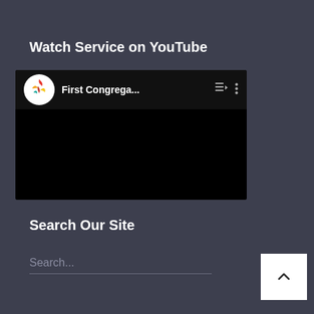Watch Service on YouTube
[Figure (screenshot): YouTube embedded player showing First Congregational Church channel with black video area and channel logo]
Search Our Site
Search...